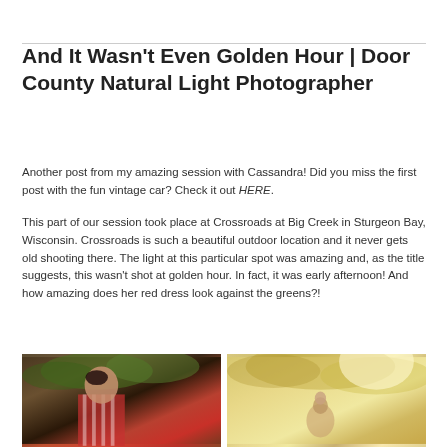And It Wasn't Even Golden Hour | Door County Natural Light Photographer
Another post from my amazing session with Cassandra! Did you miss the first post with the fun vintage car? Check it out HERE.
This part of our session took place at Crossroads at Big Creek in Sturgeon Bay, Wisconsin. Crossroads is such a beautiful outdoor location and it never gets old shooting there. The light at this particular spot was amazing and, as the title suggests, this wasn't shot at golden hour. In fact, it was early afternoon! And how amazing does her red dress look against the greens?!
[Figure (photo): Portrait photo of a woman in a red and white checkered dress against a green outdoor background]
[Figure (photo): Photo of a woman in an outdoor setting with warm golden light and green/yellow foliage]